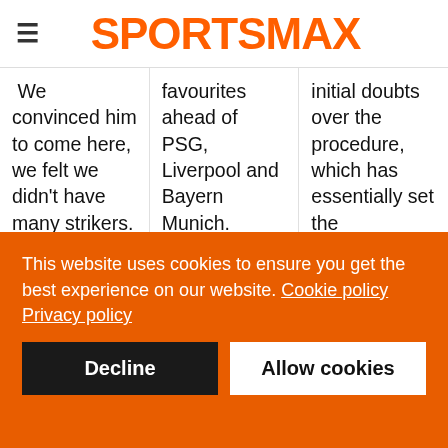SPORTSMAX
We convinced him to come here, we felt we didn't have many strikers. He tries to be involved in the way we play. He settles well like Julian [Alvarez] and other players.
favourites ahead of PSG, Liverpool and Bayern Munich. Ancelotti, though, is happy his team are not in the top four in that sense.
initial doubts over the procedure, which has essentially set the midfielder's recovery back by over a month. "From here you
This website uses cookies to ensure you get the best experience on our website. Cookie policy
Privacy policy